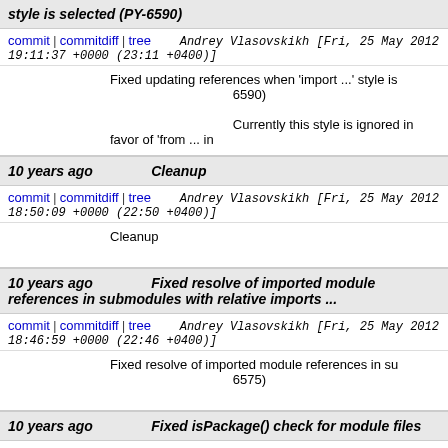style is selected (PY-6590)
commit | commitdiff | tree   Andrey Vlasovskikh [Fri, 25 May 2012 19:11:37 +0000 (23:11 +0400)]
Fixed updating references when 'import ...' style is selected (PY-6590)

Currently this style is ignored in favor of 'from ... im
10 years ago    Cleanup
commit | commitdiff | tree   Andrey Vlasovskikh [Fri, 25 May 2012 18:50:09 +0000 (22:50 +0400)]
Cleanup
10 years ago    Fixed resolve of imported module references in submodules with relative imports ...
commit | commitdiff | tree   Andrey Vlasovskikh [Fri, 25 May 2012 18:46:59 +0000 (22:46 +0400)]
Fixed resolve of imported module references in su... (PY-6575)
10 years ago    Fixed isPackage() check for module files
commit | commitdiff | tree   Andrey Vlasovskikh [Fri, 25 May 2012